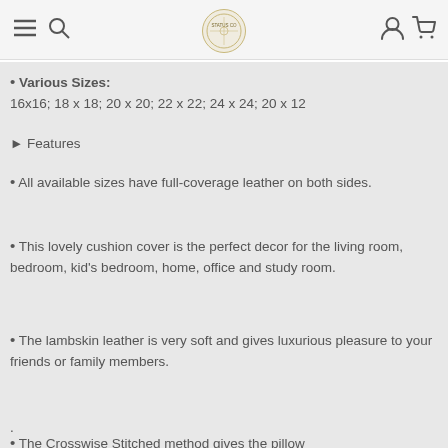Navigation bar with menu, search, logo, user, and cart icons
Various Sizes: 16x16; 18 x 18; 20 x 20; 22 x 22; 24 x 24; 20 x 12
➤ Features
All available sizes have full-coverage leather on both sides.
This lovely cushion cover is the perfect decor for the living room, bedroom, kid's bedroom, home, office and study room.
The lambskin leather is very soft and gives luxurious pleasure to your friends or family members.
.
The Crosswise Stitched method gives the pillow